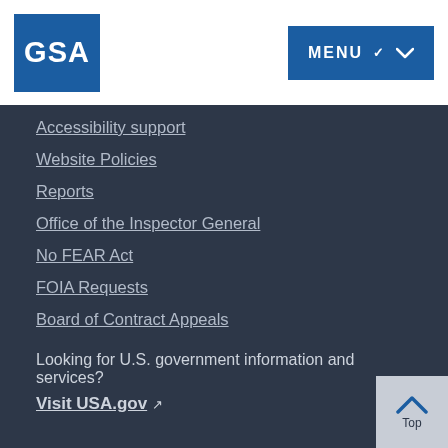[Figure (logo): GSA logo — white text 'GSA' on dark blue square background]
[Figure (screenshot): Blue MENU button with chevron/dropdown arrow]
Accessibility support
Website Policies
Reports
Office of the Inspector General
No FEAR Act
FOIA Requests
Board of Contract Appeals
Looking for U.S. government information and services?
Visit USA.gov ↗